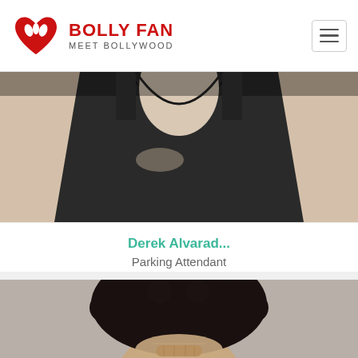Bolly Fan — Meet Bollywood
[Figure (photo): Cropped photo of a person wearing a black sleeveless tank top, showing the upper chest and neck area against a light background.]
Derek Alvarad...
Parking Attendant
[Figure (photo): Cropped photo of a person with a large curly afro hairstyle, looking slightly downward, against a grey background.]